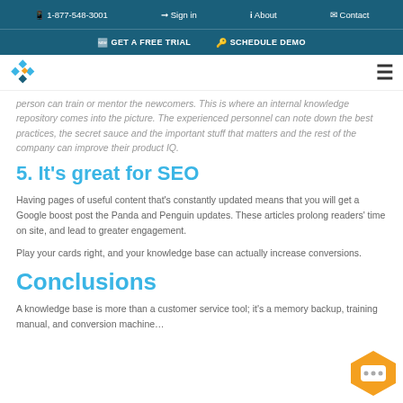1-877-548-3001  Sign in  About  Contact
GET A FREE TRIAL  SCHEDULE DEMO
person can train or mentor the newcomers. This is where an internal knowledge repository comes into the picture. The experienced personnel can note down the best practices, the secret sauce and the important stuff that matters and the rest of the company can improve their product IQ.
5. It's great for SEO
Having pages of useful content that's constantly updated means that you will get a Google boost post the Panda and Penguin updates. These articles prolong readers' time on site, and lead to greater engagement.
Play your cards right, and your knowledge base can actually increase conversions.
Conclusions
A knowledge base is more than a customer service tool; it's a memory backup, training manual, and conversion machine…